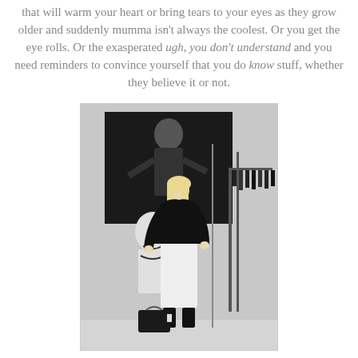that will warm your heart or bring tears to your eyes as they grow older and suddenly mumma isn't always the coolest. Or you get the eye rolls. Or the exasperated ugh, you don't understand and you need reminders to convince yourself that you do know stuff, whether they believe it or not.
[Figure (photo): A blonde woman wearing a black leather jacket stands next to a mannequin displaying a bra in what appears to be a fashion boutique or showroom. Behind her is a large black and white photograph on the wall and a clothing rack with dark garments on the right. A black handbag sits on the floor.]